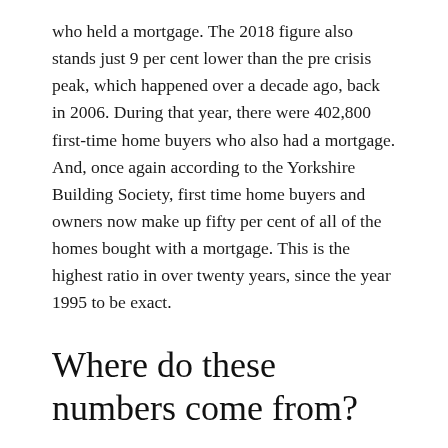who held a mortgage. The 2018 figure also stands just 9 per cent lower than the pre crisis peak, which happened over a decade ago, back in 2006. During that year, there were 402,800 first-time home buyers who also had a mortgage. And, once again according to the Yorkshire Building Society, first time home buyers and owners now make up fifty per cent of all of the homes bought with a mortgage. This is the highest ratio in over twenty years, since the year 1995 to be exact.
Where do these numbers come from?
These numbers come from January to October of 2018. The last two months (November and December) were estimated and projected, based off of the previous